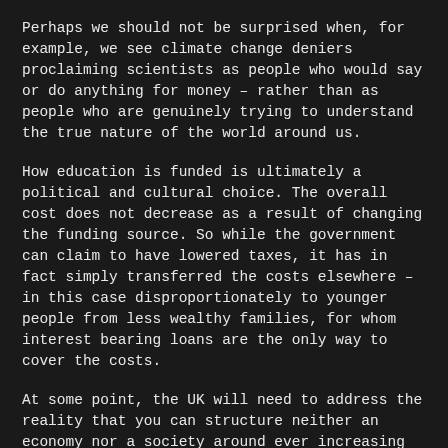Perhaps we should not be surprised when, for example, we see climate change deniers proclaiming scientists as people who would say or do anything for money – rather than as people who are genuinely trying to understand the true nature of the world around us.
How education is funded is ultimately a political and cultural choice. The overall cost does not decrease as a result of changing the funding source. So while the government can claim to have lowered taxes, it has in fact simply transferred the costs elsewhere – in this case disproportionately to younger people from less wealthy families, for whom interest bearing loans are the only way to cover the costs.
At some point, the UK will need to address the reality that you can structure neither an economy nor a society around ever increasing personal debts rather than fair mutual taxation, and where the overall benefits disproportionately accrue to a vanishingly small portion of the population (the fallacy of a "trickle-down" economy).
I think that if you want to see the consequences of a system like this, you need only look at the current UK parliament. Examples from recent weeks include MPs lying about second jobs (and some fairly shady businesses at that), yet more cash-for-questions scandals, and a